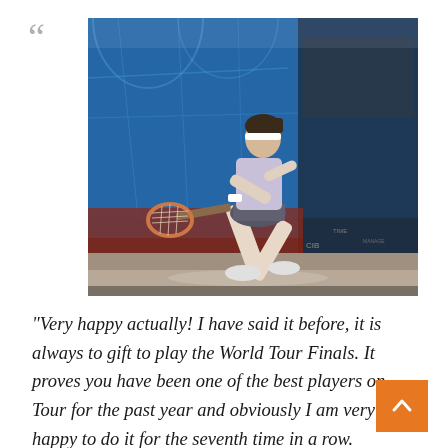[Figure (photo): A female squash player in athletic gear lunging forward to hit a squash ball with her racket on a glass-walled squash court. The background shows a blue squash court wall with sponsors and spectators visible.]
“Very happy actually! I have said it before, it is always to gift to play the World Tour Finals. It proves you have been one of the best players on Tour for the past year and obviously I am very happy to do it for the seventh time in a row.